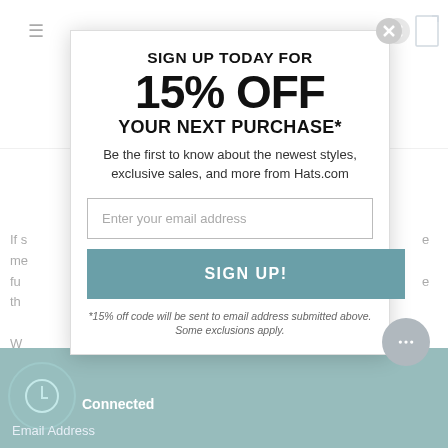SIGN UP TODAY FOR
15% OFF
YOUR NEXT PURCHASE*
Be the first to know about the newest styles, exclusive sales, and more from Hats.com
Enter your email address
SIGN UP!
*15% off code will be sent to email address submitted above. Some exclusions apply.